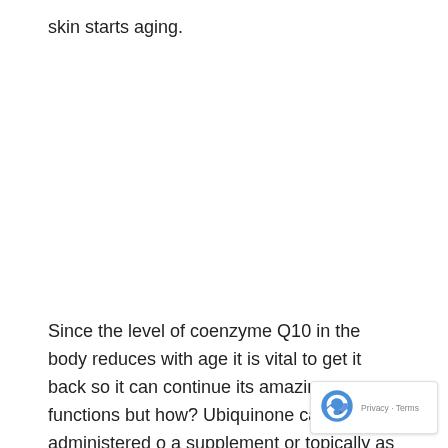skin starts aging.
Since the level of coenzyme Q10 in the body reduces with age it is vital to get it back so it can continue its amazing functions but how? Ubiquinone can be administered o… a supplement or topically as a cream. Your dermatolo… would be in a better position to tell you the best method for